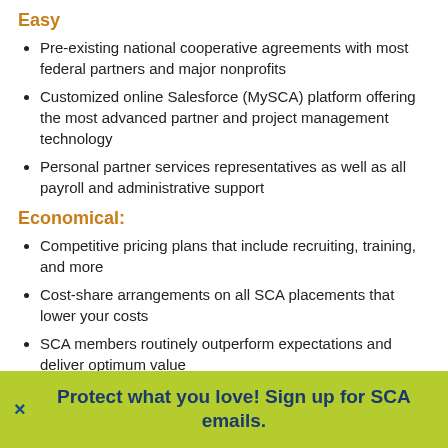Easy
Pre-existing national cooperative agreements with most federal partners and major nonprofits
Customized online Salesforce (MySCA) platform offering the most advanced partner and project management technology
Personal partner services representatives as well as all payroll and administrative support
Economical:
Competitive pricing plans that include recruiting, training, and more
Cost-share arrangements on all SCA placements that lower your costs
SCA members routinely outperform expectations and deliver optimum value
Effective:
partners nationwide
Protect what you love! Sign up for SCA emails.